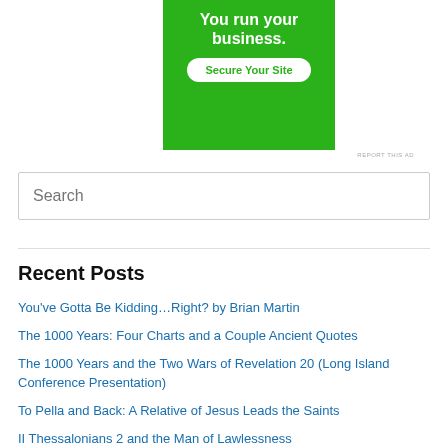[Figure (other): Green advertisement banner with bold white text 'You run your business.' and a white button labeled 'Secure Your Site' in green text]
REPORT THIS AD
Search
Recent Posts
You've Gotta Be Kidding…Right? by Brian Martin
The 1000 Years: Four Charts and a Couple Ancient Quotes
The 1000 Years and the Two Wars of Revelation 20 (Long Island Conference Presentation)
To Pella and Back: A Relative of Jesus Leads the Saints
II Thessalonians 2 and the Man of Lawlessness